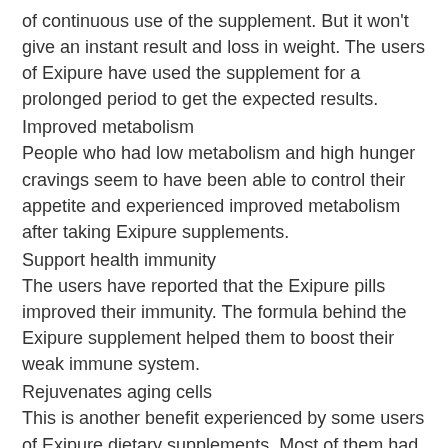of continuous use of the supplement. But it won't give an instant result and loss in weight. The users of Exipure have used the supplement for a prolonged period to get the expected results.
Improved metabolism
People who had low metabolism and high hunger cravings seem to have been able to control their appetite and experienced improved metabolism after taking Exipure supplements.
Support health immunity
The users have reported that the Exipure pills improved their immunity. The formula behind the Exipure supplement helped them to boost their weak immune system.
Rejuvenates aging cells
This is another benefit experienced by some users of Exipure dietary supplements. Most of them had experienced skin thinning and more fragile skin with age. With the consistent use of Exipure supplement, wrinkles and age spots disappeared and it